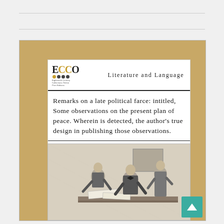[Figure (illustration): ECCO (Eighteenth Century Collections Online Print Editions) book cover with golden/tan background. White card area showing logo and metadata. Logo: ECCO with gold colored letters. Category: Literature and Language. Title: Remarks on a late political farce: intitled, Some observations on the present plan of peace. Wherein is detected, the author's true design in publishing those observations. Author: Multiple Contributors, See Notes. Lower portion shows a black and white engraving of three men examining documents at a table.]
Remarks on a late political farce: intitled, Some observations on the present plan of peace. Wherein is detected, the author's true design in publishing those observations.
Multiple Contributors, See Notes